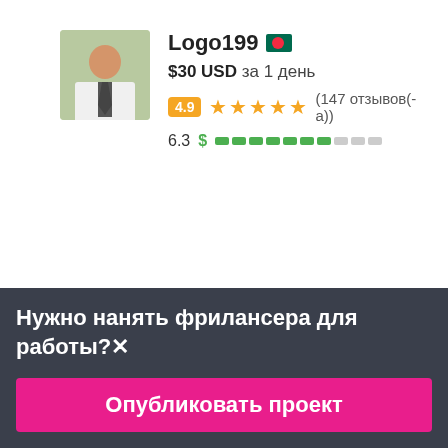Logo199 🇧🇩
$30 USD за 1 день
4.9 ★★★★★ (147 отзывов(-а))
6.3 $ ████████░░░
AbbasSaeed143 🇵🇰
Нужно нанять фрилансера для работы?✕
Опубликовать проект